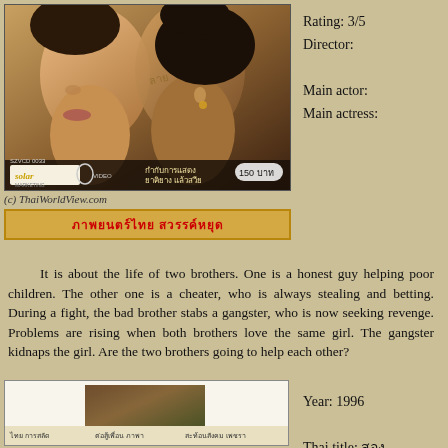[Figure (photo): Thai VCD movie cover showing two young people close together, with Solar Marketing branding, price 150 baht, SZVCD 0033]
(c) ThaiWorldView.com
ภาพยนตร์ไทย สวรรค์หยุด
It is about the life of two brothers. One is a honest guy helping poor children. The other one is a cheater, who is always stealing and betting. During a fight, the bad brother stabs a gangster, who is now seeking revenge. Problems are rising when both brothers love the same girl. The gangster kidnaps the girl. Are the two brothers going to help each other?
Rating: 3/5
Director:

Main actor:
Main actress:
[Figure (photo): Bottom portion of another Thai movie VCD cover, partially visible]
Year: 1996

Thai title: สอง